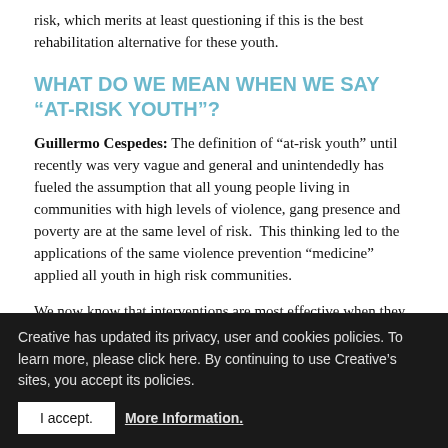risk, which merits at least questioning if this is the best rehabilitation alternative for these youth.
WHAT DO WE MEAN WHEN WE SAY “AT-RISK YOUTH”?
Guillermo Cespedes: The definition of “at-risk youth” until recently was very vague and general and unintendedly has fueled the assumption that all young people living in communities with high levels of violence, gang presence and poverty are at the same level of risk.  This thinking led to the applications of the same violence prevention “medicine” applied all youth in high risk communities.
We now know that interventions are most effective when they are targeted to specific risk levels. Based on a data sample of 2,189 youth from the most violent communities in Honduras 1,483, or 68 percent of them, have tested at a primary level of risk—
Creative has updated its privacy, user and cookies policies. To learn more, please click here. By continuing to use Creative’s sites, you accept its policies.